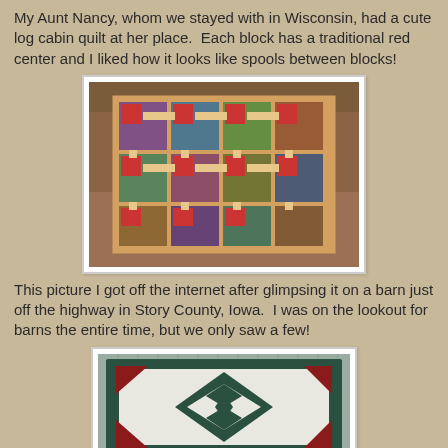My Aunt Nancy, whom we stayed with in Wisconsin, had a cute log cabin quilt at her place. Each block has a traditional red center and I liked how it looks like spools between blocks!
[Figure (photo): A colorful log cabin quilt with a traditional red center design displayed on a couch, showing a pattern that resembles spools between the blocks.]
This picture I got off the internet after glimpsing it on a barn just off the highway in Story County, Iowa. I was on the lookout for barns the entire time, but we only saw a few!
[Figure (photo): A barn quilt sign mounted on a barn wall, featuring a geometric pattern with dark teal/green and dark red/maroon diamond shapes on a white background, framed with dark green borders.]